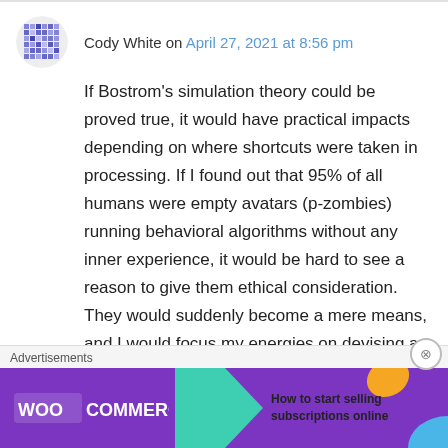Cody White on April 27, 2021 at 8:56 pm
If Bostrom's simulation theory could be proved true, it would have practical impacts depending on where shortcuts were taken in processing. If I found out that 95% of all humans were empty avatars (p-zombies) running behavioral algorithms without any inner experience, it would be hard to see a reason to give them ethical consideration. They would suddenly become a mere means, and I would focus my energies on devising a method for discerning the 5%ers who
Advertisements
[Figure (other): WooCommerce advertisement banner: purple background with WooCommerce logo, teal arrow/block shape, text 'How to start selling subscriptions online', orange and blue decorative leaf/arc shapes]